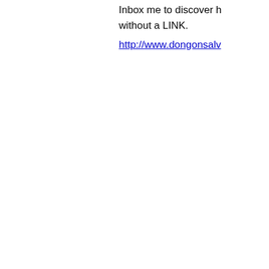Inbox me to discover h without a LINK.
http://www.dongonsalv